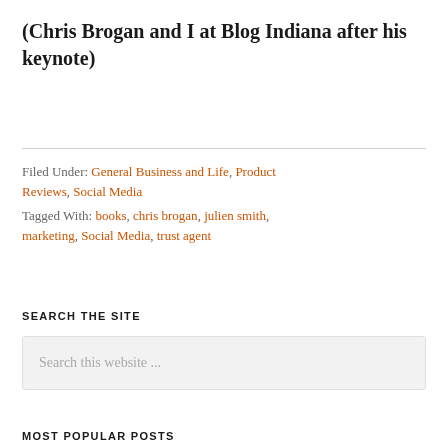(Chris Brogan and I at Blog Indiana after his keynote)
Filed Under: General Business and Life, Product Reviews, Social Media
Tagged With: books, chris brogan, julien smith, marketing, Social Media, trust agent
SEARCH THE SITE
Search this website ...
MOST POPULAR POSTS